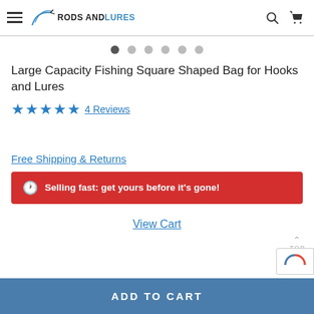Rods and Lures — navigation header with hamburger menu, logo, search icon, and cart icon
[Figure (other): Image carousel dot indicators — 6 dots, first one active (dark), rest light gray]
Large Capacity Fishing Square Shaped Bag for Hooks and Lures
★★★★★ 4 Reviews
Free Shipping & Returns
🕐 Selling fast: get yours before it's gone!
View Cart
ADD TO CART